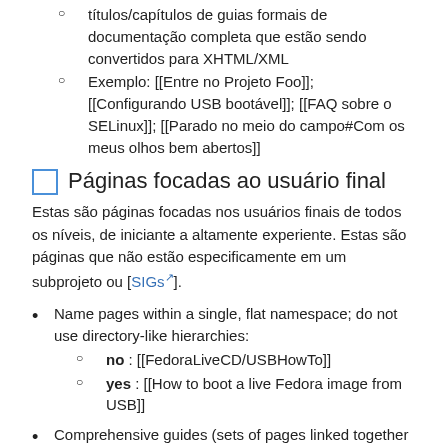títulos/capítulos de guias formais de documentação completa que estão sendo convertidos para XHTML/XML
Exemplo: [[Entre no Projeto Foo]]; [[Configurando USB bootável]]; [[FAQ sobre o SELinux]]; [[Parado no meio do campo#Com os meus olhos bem abertos]]
Páginas focadas ao usuário final
Estas são páginas focadas nos usuários finais de todos os níveis, de iniciante a altamente experiente. Estas são páginas que não estão especificamente em um subprojeto ou [SIGs].
Name pages within a single, flat namespace; do not use directory-like hierarchies:
no : [[FedoraLiveCD/USBHowTo]]
yes : [[How to boot a live Fedora image from USB]]
Comprehensive guides (sets of pages linked together as a guide):
[[Guide Name - Chapter Name]]